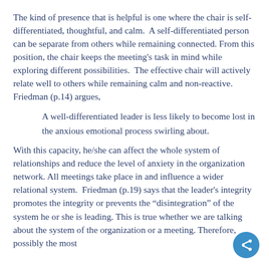The kind of presence that is helpful is one where the chair is self-differentiated, thoughtful, and calm.  A self-differentiated person can be separate from others while remaining connected. From this position, the chair keeps the meeting's task in mind while exploring different possibilities.  The effective chair will actively relate well to others while remaining calm and non-reactive. Friedman (p.14) argues,
A well-differentiated leader is less likely to become lost in the anxious emotional process swirling about.
With this capacity, he/she can affect the whole system of relationships and reduce the level of anxiety in the organization network. All meetings take place in and influence a wider relational system.  Friedman (p.19) says that the leader's integrity promotes the integrity or prevents the “disintegration” of the system he or she is leading. This is true whether we are talking about the system of the organization or a meeting. Therefore, possibly the most